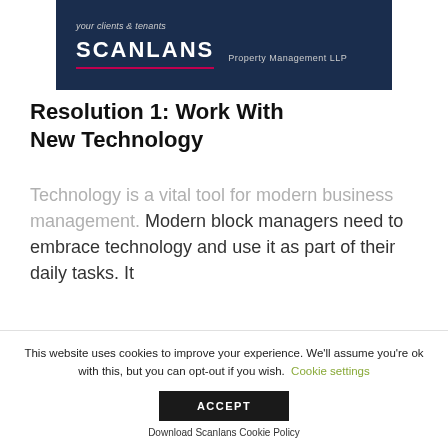[Figure (logo): Scanlans Property Management LLP banner with dark navy background, tagline 'your clients & tenants', bold white text SCANLANS with red underline swoosh, and subtitle 'Property Management LLP']
Resolution 1: Work With New Technology
Technology is a vital tool for modern business management. Modern block managers need to embrace technology and use it as part of their daily tasks. It
This website uses cookies to improve your experience. We'll assume you're ok with this, but you can opt-out if you wish. Cookie settings
ACCEPT
Download Scanlans Cookie Policy